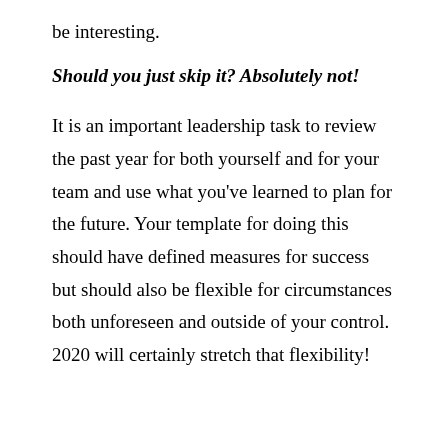be interesting.
Should you just skip it? Absolutely not!
It is an important leadership task to review the past year for both yourself and for your team and use what you've learned to plan for the future. Your template for doing this should have defined measures for success but should also be flexible for circumstances both unforeseen and outside of your control. 2020 will certainly stretch that flexibility!